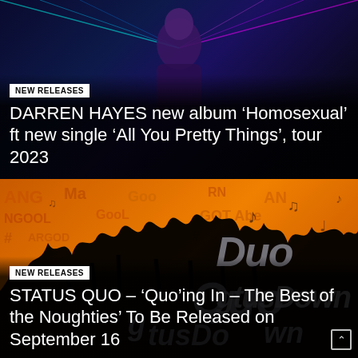[Figure (photo): Darren Hayes against a dark blue background with laser light beams, wearing dark sparkly outfit]
NEW RELEASES
DARREN HAYES new album ‘Homosexual’ ft new single ‘All You Pretty Things’, tour 2023
[Figure (photo): Status Quo promotional image showing crowd silhouettes against vivid orange background with music notes and Status Quo logo text]
NEW RELEASES
STATUS QUO – ‘Quo’ing In – The Best of the Noughties’ To Be Released on September 16